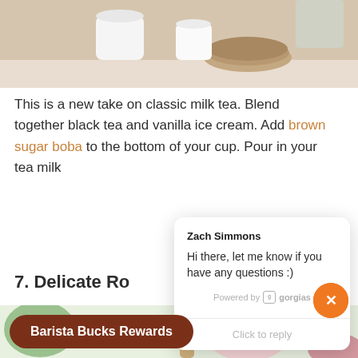[Figure (photo): Top portion of a photo showing white cups and wooden coasters on a light surface]
This is a new take on classic milk tea. Blend together black tea and vanilla ice cream. Add brown sugar boba to the bottom of your cup. Pour in your tea milk
7. Delicate Ro
[Figure (photo): Bottom photo showing pink drinks, matcha whisk, green leaves, and pink powder in a bowl]
Zach Simmons
Hi there, let me know if you have any questions :)
Powered by gorgias
Click to reply
Barista Bucks Rewards